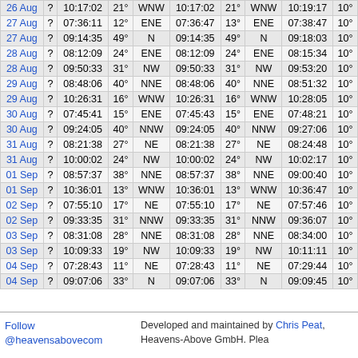| Date | ? | Time | ° | Dir | Time | ° | Dir | Time | 10° |
| --- | --- | --- | --- | --- | --- | --- | --- | --- | --- |
| 26 Aug | ? | 10:17:02 | 21° | WNW | 10:17:02 | 21° | WNW | 10:19:17 | 10° |
| 27 Aug | ? | 07:36:11 | 12° | ENE | 07:36:47 | 13° | ENE | 07:38:47 | 10° |
| 27 Aug | ? | 09:14:35 | 49° | N | 09:14:35 | 49° | N | 09:18:03 | 10° |
| 28 Aug | ? | 08:12:09 | 24° | ENE | 08:12:09 | 24° | ENE | 08:15:34 | 10° |
| 28 Aug | ? | 09:50:33 | 31° | NW | 09:50:33 | 31° | NW | 09:53:20 | 10° |
| 29 Aug | ? | 08:48:06 | 40° | NNE | 08:48:06 | 40° | NNE | 08:51:32 | 10° |
| 29 Aug | ? | 10:26:31 | 16° | WNW | 10:26:31 | 16° | WNW | 10:28:05 | 10° |
| 30 Aug | ? | 07:45:41 | 15° | ENE | 07:45:43 | 15° | ENE | 07:48:21 | 10° |
| 30 Aug | ? | 09:24:05 | 40° | NNW | 09:24:05 | 40° | NNW | 09:27:06 | 10° |
| 31 Aug | ? | 08:21:38 | 27° | NE | 08:21:38 | 27° | NE | 08:24:48 | 10° |
| 31 Aug | ? | 10:00:02 | 24° | NW | 10:00:02 | 24° | NW | 10:02:17 | 10° |
| 01 Sep | ? | 08:57:37 | 38° | NNE | 08:57:37 | 38° | NNE | 09:00:40 | 10° |
| 01 Sep | ? | 10:36:01 | 13° | WNW | 10:36:01 | 13° | WNW | 10:36:47 | 10° |
| 02 Sep | ? | 07:55:10 | 17° | NE | 07:55:10 | 17° | NE | 07:57:46 | 10° |
| 02 Sep | ? | 09:33:35 | 31° | NNW | 09:33:35 | 31° | NNW | 09:36:07 | 10° |
| 03 Sep | ? | 08:31:08 | 28° | NNE | 08:31:08 | 28° | NNE | 08:34:00 | 10° |
| 03 Sep | ? | 10:09:33 | 19° | NW | 10:09:33 | 19° | NW | 10:11:11 | 10° |
| 04 Sep | ? | 07:28:43 | 11° | NE | 07:28:43 | 11° | NE | 07:29:44 | 10° |
| 04 Sep | ? | 09:07:06 | 33° | N | 09:07:06 | 33° | N | 09:09:45 | 10° |
Follow @heavensabovecom  Developed and maintained by Chris Peat, Heavens-Above GmbH. Plea...